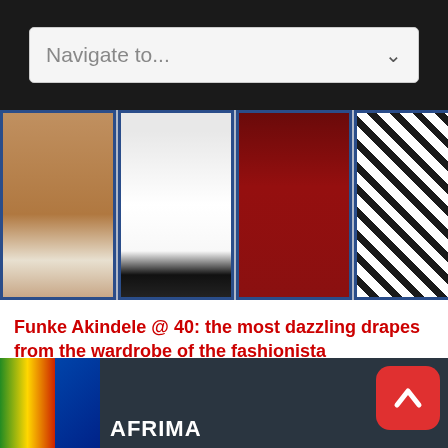[Figure (screenshot): Navigation dropdown bar with 'Navigate to...' placeholder text on dark background]
[Figure (photo): Image strip showing fashion photos of Funke Akindele in various outfits — legs in white shorts, full white dress with heels, red sequined gown, black and white patterned fabric, white outfit]
Funke Akindele @ 40: the most dazzling drapes from the wardrobe of the fashionista
August 24, 2016 - 10:59 am
Funke Akindele, the adored actress popularly known as Jenifa, is 40 today (Wednesday, August 24), emerging as a well ...
[Figure (photo): Bottom photo showing people at AFRIMA event with flags in background]